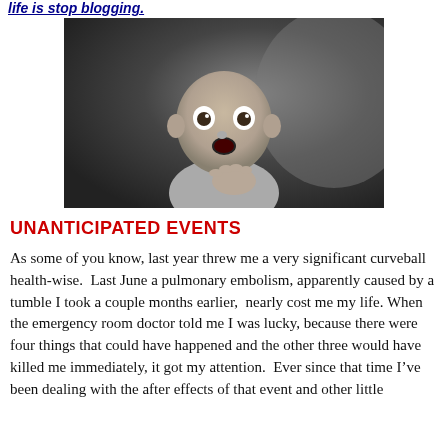life is stop blogging.
[Figure (photo): Black and white photo of a surprised-looking baby with wide eyes and hand on chest]
UNANTICIPATED EVENTS
As some of you know, last year threw me a very significant curveball health-wise.  Last June a pulmonary embolism, apparently caused by a tumble I took a couple months earlier,  nearly cost me my life. When the emergency room doctor told me I was lucky, because there were four things that could have happened and the other three would have killed me immediately, it got my attention.  Ever since that time I’ve been dealing with the after effects of that event and other little